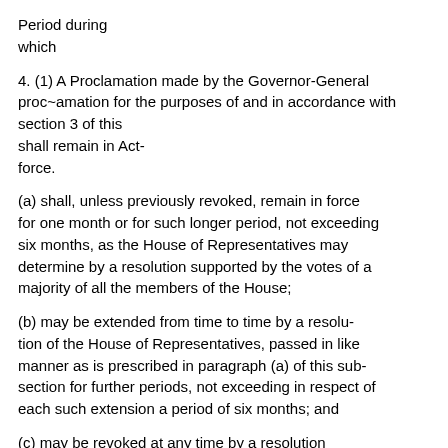Period during which
4. (1) A Proclamation made by the Governor-General proc~amation for the purposes of and in accordance with section 3 of this shall remain in Act-force.
(a) shall, unless previously revoked, remain in force for one month or for such longer period, not exceeding six months, as the House of Representatives may determine by a resolution supported by the votes of a majority of all the members of the House;
(b) may be extended from time to time by a resolution of the House of Representatives, passed in like manner as is prescribed in paragraph (a) of this subsection for further periods, not exceeding in respect of each such extension a period of six months; and
(c) may be revoked at any time by a resolution supported by the votes of a majority of all the members of the House of Representatives.